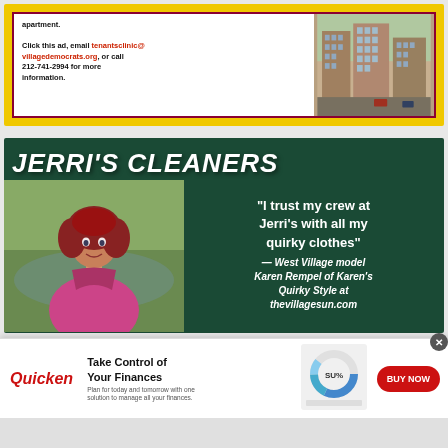[Figure (infographic): Tenants clinic advertisement with yellow border, red/maroon inner border, text about clicking ad or calling 212-741-2994, email tenantsclinic@villagedemocrats.org, and a photo of NYC apartment buildings on the right]
[Figure (infographic): Jerri's Cleaners advertisement on dark green background with large italic white title, photo of woman with red hair in pink jacket, and quote: 'I trust my crew at Jerri's with all my quirky clothes' — West Village model Karen Rempel of Karen's Quirky Style at thevillagesun.com]
[Figure (infographic): Quicken advertisement banner: Take Control of Your Finances — Plan for today and tomorrow with one solution to manage all your finances. BUY NOW button, Quicken logo in red italic, donut chart graphic]